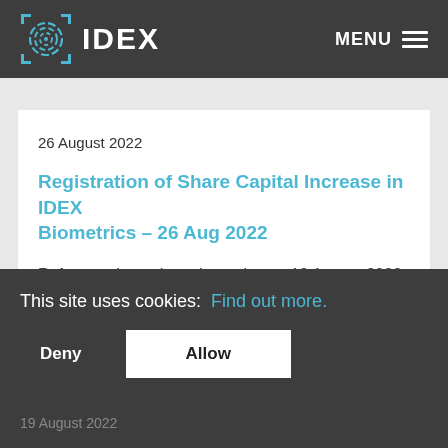IDEX  MENU
26 August 2022
Registration of Share Capital Increase in IDEX Biometrics – 26 Aug 2022
Reference is made to the notice on 19 August 2022
n rights.
been
d.
This site uses cookies:  Find out more.
Deny
Allow
19 August 2022